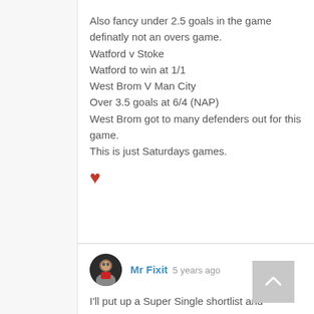Also fancy under 2.5 goals in the game definatly not an overs game.
Watford v Stoke
Watford to win at 1/1
West Brom V Man City
Over 3.5 goals at 6/4 (NAP)
West Brom got to many defenders out for this game.
This is just Saturdays games.
[Figure (illustration): Red heart icon (like/reaction button)]
Mr Fixit 5 years ago
I'll put up a Super Single shortlist and included will be Watford and Spurs draw no bet...